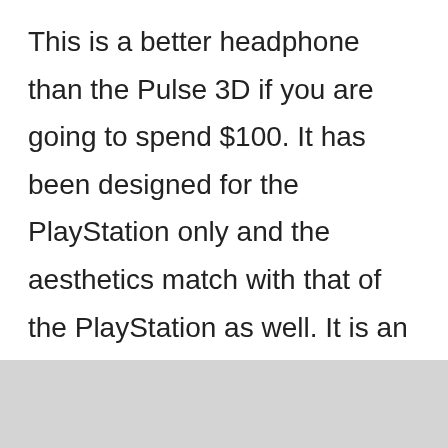This is a better headphone than the Pulse 3D if you are going to spend $100. It has been designed for the PlayStation only and the aesthetics match with that of the PlayStation as well. It is an over-the-ear headphone.

There is Bluetooth 5.0, so you can pair it